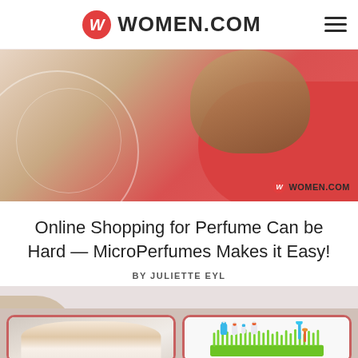WOMEN.COM
[Figure (photo): Hero banner image showing a person's hand holding a round object with red curved shapes and beige/cream background, watermarked with women.com logo]
Online Shopping for Perfume Can be Hard — MicroPerfumes Makes it Easy!
BY JULIETTE EYL
[Figure (photo): A young blonde girl with a pink bow in her hair wearing a white outfit, smiling]
[Figure (photo): Baby bottles and accessories on a green grass-shaped drying rack with colorful caps]